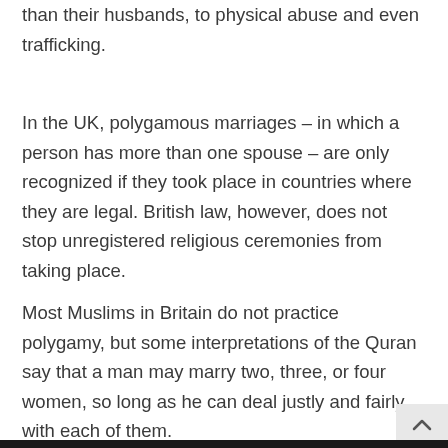than their husbands, to physical abuse and even trafficking.
In the UK, polygamous marriages – in which a person has more than one spouse – are only recognized if they took place in countries where they are legal. British law, however, does not stop unregistered religious ceremonies from taking place.
Most Muslims in Britain do not practice polygamy, but some interpretations of the Quran say that a man may marry two, three, or four women, so long as he can deal justly and fairly with each of them.